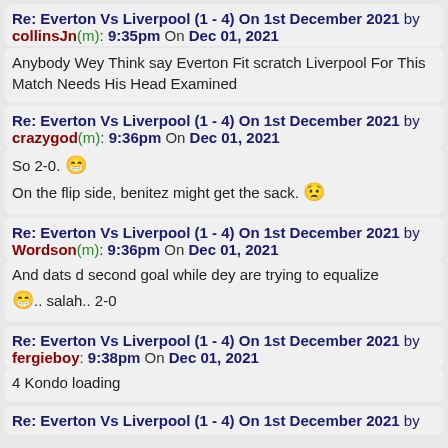Re: Everton Vs Liverpool (1 - 4) On 1st December 2021 by collinsJn(m): 9:35pm On Dec 01, 2021
Anybody Wey Think say Everton Fit scratch Liverpool For This Match Needs His Head Examined
Re: Everton Vs Liverpool (1 - 4) On 1st December 2021 by crazygod(m): 9:36pm On Dec 01, 2021
So 2-0. 😁 On the flip side, benitez might get the sack. 😟
Re: Everton Vs Liverpool (1 - 4) On 1st December 2021 by Wordson(m): 9:36pm On Dec 01, 2021
And dats d second goal while dey are trying to equalize 😁.. salah.. 2-0
Re: Everton Vs Liverpool (1 - 4) On 1st December 2021 by fergieboy: 9:38pm On Dec 01, 2021
4 Kondo loading
Re: Everton Vs Liverpool (1 - 4) On 1st December 2021 by